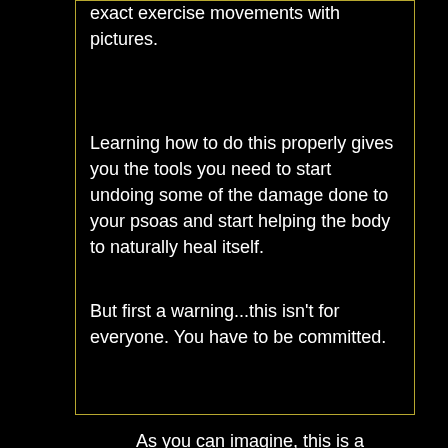exact exercise movements with pictures.
Learning how to do this properly gives you the tools you need to start undoing some of the damage done to your psoas and start helping the body to naturally heal itself.
But first a warning...this isn't for everyone. You have to be committed.
As you can imagine, this is a